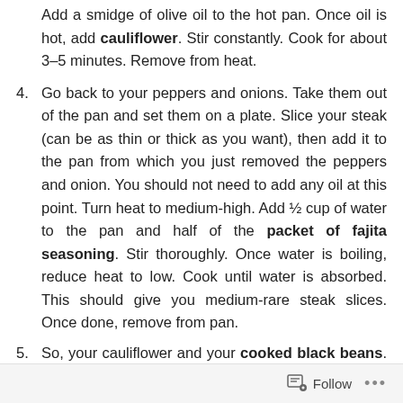Add a smidge of olive oil to the hot pan. Once oil is hot, add cauliflower. Stir constantly. Cook for about 3–5 minutes. Remove from heat.
4. Go back to your peppers and onions. Take them out of the pan and set them on a plate. Slice your steak (can be as thin or thick as you want), then add it to the pan from which you just removed the peppers and onion. You should not need to add any oil at this point. Turn heat to medium-high. Add ½ cup of water to the pan and half of the packet of fajita seasoning. Stir thoroughly. Once water is boiling, reduce heat to low. Cook until water is absorbed. This should give you medium-rare steak slices. Once done, remove from pan.
5. So, your cauliflower and your cooked black beans. You want to mix these together. I'd suggest using the steak and peppers pan if it's large enough. On medium-low
Follow ...